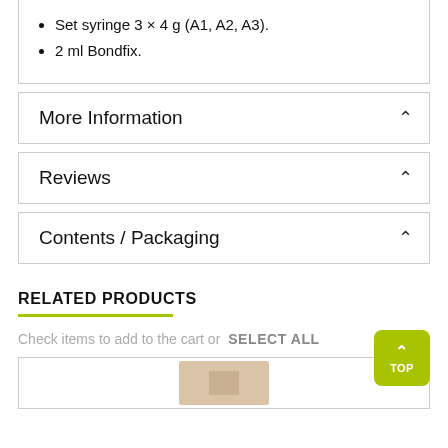Set syringe 3 × 4 g (A1, A2, A3).
2 ml Bondfix.
More Information
Reviews
Contents / Packaging
RELATED PRODUCTS
Check items to add to the cart or SELECT ALL